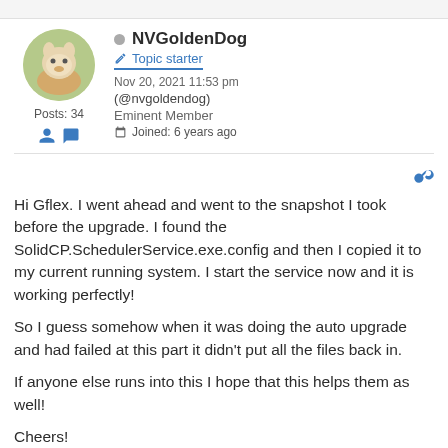NVGoldenDog
Topic starter
Nov 20, 2021 11:53 pm
(@nvgoldendog)
Eminent Member
Joined: 6 years ago
Posts: 34
Hi Gflex. I went ahead and went to the snapshot I took before the upgrade. I found the SolidCP.SchedulerService.exe.config and then I copied it to my current running system. I start the service now and it is working perfectly!
So I guess somehow when it was doing the auto upgrade and had failed at this part it didn't put all the files back in.
If anyone else runs into this I hope that this helps them as well!
Cheers!